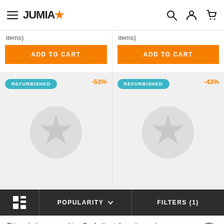JUMIA — navigation header with hamburger, logo, search, account, cart icons
items)
items)
[Figure (screenshot): Orange ADD TO CART button, left product card]
[Figure (screenshot): Orange ADD TO CART button, right product card]
[Figure (screenshot): Refurbished product card left: REFURBISHED badge, -53% discount, star placeholder image]
[Figure (screenshot): Refurbished product card right: REFURBISHED badge, -43% discount, star placeholder image]
Grid icon | POPULARITY ▾ | FILTERS (1)
This website uses cookies. For further information on how we use cookies you can read our Privacy and Cookie notice